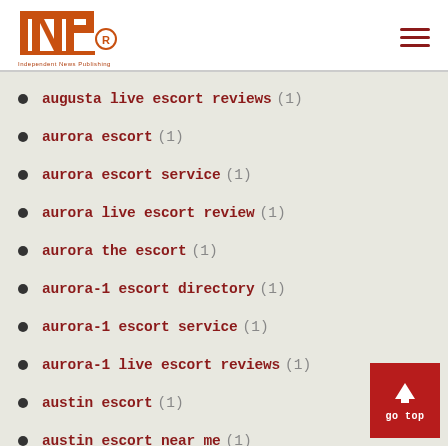INP logo with hamburger menu
augusta live escort reviews (1)
aurora escort (1)
aurora escort service (1)
aurora live escort review (1)
aurora the escort (1)
aurora-1 escort directory (1)
aurora-1 escort service (1)
aurora-1 live escort reviews (1)
austin escort (1)
austin escort near me (1)
austin live escort review (1)